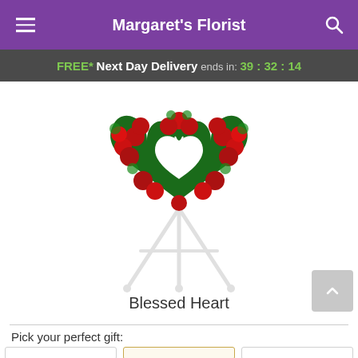Margaret's Florist
FREE* Next Day Delivery ends in: 39:32:14
[Figure (photo): A heart-shaped floral wreath made of red roses and green foliage, mounted on a white easel stand. The center of the heart is open, creating a heart-shaped negative space. The arrangement is a sympathy/funeral piece.]
Blessed Heart
Pick your perfect gift: